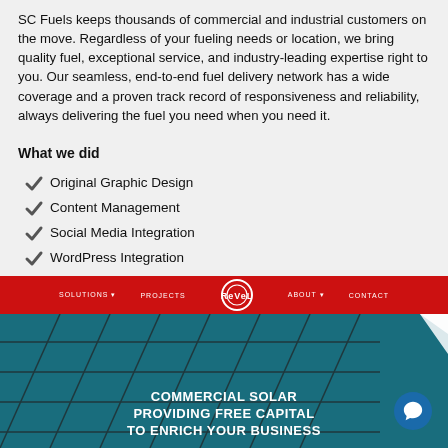SC Fuels keeps thousands of commercial and industrial customers on the move. Regardless of your fueling needs or location, we bring quality fuel, exceptional service, and industry-leading expertise right to you. Our seamless, end-to-end fuel delivery network has a wide coverage and a proven track record of responsiveness and reliability, always delivering the fuel you need when you need it.
What we did
Original Graphic Design
Content Management
Social Media Integration
WordPress Integration
Web Site Hosting
[Figure (screenshot): Screenshot of Revel website with red navigation bar showing SOLUTIONS, PROJECTS, REVEL logo, ABOUT, CONTACT links, and a background image of solar panels with white text reading COMMERCIAL SOLAR PROVIDING FREE CAPITAL TO ENRICH YOUR BUSINESS]